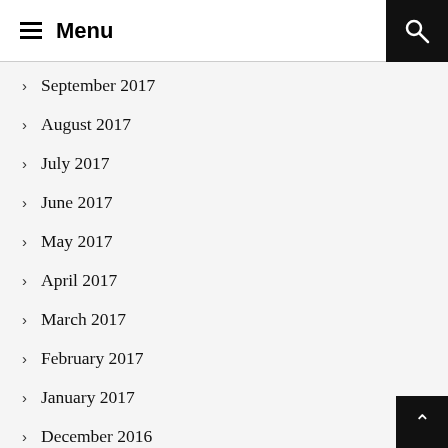Menu
September 2017
August 2017
July 2017
June 2017
May 2017
April 2017
March 2017
February 2017
January 2017
December 2016